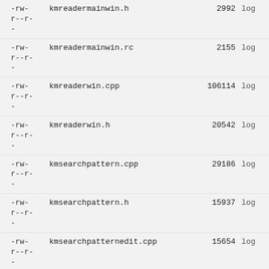| permissions | filename | size | action |
| --- | --- | --- | --- |
| -rw-r--r-- | kmreadermainwin.h | 2992 | log |
| -rw-r--r-- | kmreadermainwin.rc | 2155 | log |
| -rw-r--r-- | kmreaderwin.cpp | 106114 | log |
| -rw-r--r-- | kmreaderwin.h | 20542 | log |
| -rw-r--r-- | kmsearchpattern.cpp | 29186 | log |
| -rw-r--r-- | kmsearchpattern.h | 15937 | log |
| -rw-r--r-- | kmsearchpatternedit.cpp | 15654 | log |
| -rw-r--r-- | kmsearchpatternedit.h | 7535 | log |
| -rw-r--r-- | kmsender.cpp | 38087 | log |
| -rw- |  |  |  |